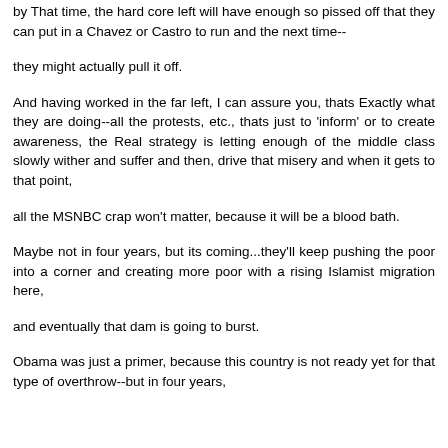by That time, the hard core left will have enough so pissed off that they can put in a Chavez or Castro to run and the next time--
they might actually pull it off.
And having worked in the far left, I can assure you, thats Exactly what they are doing--all the protests, etc., thats just to 'inform' or to create awareness, the Real strategy is letting enough of the middle class slowly wither and suffer and then, drive that misery and when it gets to that point,
all the MSNBC crap won't matter, because it will be a blood bath.
Maybe not in four years, but its coming...they'll keep pushing the poor into a corner and creating more poor with a rising Islamist migration here,
and eventually that dam is going to burst.
Obama was just a primer, because this country is not ready yet for that type of overthrow--but in four years,